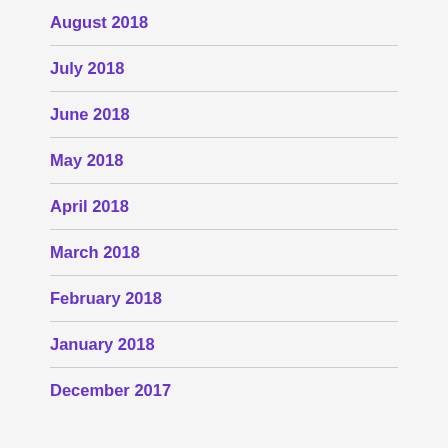August 2018
July 2018
June 2018
May 2018
April 2018
March 2018
February 2018
January 2018
December 2017